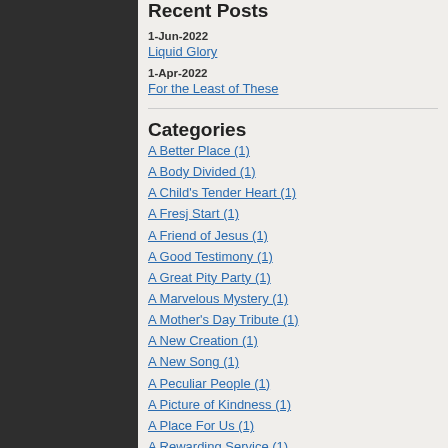Recent Posts
1-Jun-2022
Liquid Glory
1-Apr-2022
For the Least of These
Categories
A Better Place (1)
A Body Divided (1)
A Child's Tender Heart (1)
A Fresj Start (1)
A Friend of Jesus (1)
A Good Testimony (1)
A Great Pity Party (1)
A Marvelous Mystery (1)
A Mother's Day Tribute (1)
A New Creation (1)
A New Song (1)
A Peculiar People (1)
A Picture of Kindness (1)
A Place For Us (1)
A Rewarding Service (1)
A Safe Exodus (1)
Be a Sermon (1)
Be Still (1)
Be Ye Holy (1)
Beat the Clock (1)